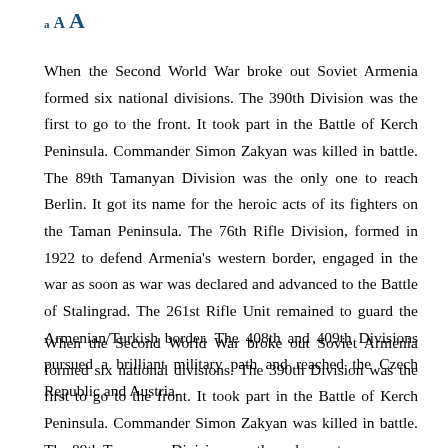a A A
When the Second World War broke out Soviet Armenia formed six national divisions. The 390th Division was the first to go to the front. It took part in the Battle of Kerch Peninsula. Commander Simon Zakyan was killed in battle. The 89th Tamanyan Division was the only one to reach Berlin. It got its name for the heroic acts of its fighters on the Taman Peninsula. The 76th Rifle Division, formed in 1922 to defend Armenia’s western border, engaged in the war as soon as war was declared and advanced to the Battle of Stalingrad. The 261st Rifle Unit remained to guard the Armenian/Turkish border. The 408th and 409th Divisions pursued a brilliant military path and reached the Czech Republic and Austria.
When the Second World War broke out Soviet Armenia formed six national divisions. The 390th Division was the first to go to the front. It took part in the Battle of Kerch Peninsula. Commander Simon Zakyan was killed in battle. The 89th Tamanyan Division was the only one to